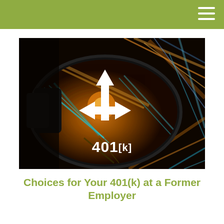[Figure (photo): Car side-view mirror reflecting night city lights with blurred colorful streaks. A white three-way directional arrow icon is overlaid in the center of the mirror reflection, with the text '401[k]' in large white letters beneath it.]
Choices for Your 401(k) at a Former Employer